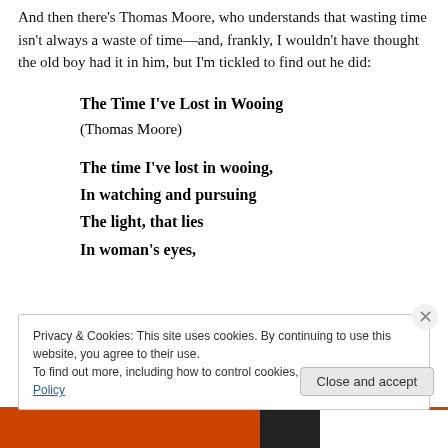And then there's Thomas Moore, who understands that wasting time isn't always a waste of time—and, frankly, I wouldn't have thought the old boy had it in him, but I'm tickled to find out he did:
The Time I've Lost in Wooing
(Thomas Moore)
The time I've lost in wooing,
In watching and pursuing
The light, that lies
In woman's eyes,
Privacy & Cookies: This site uses cookies. By continuing to use this website, you agree to their use.
To find out more, including how to control cookies, see here: Cookie Policy